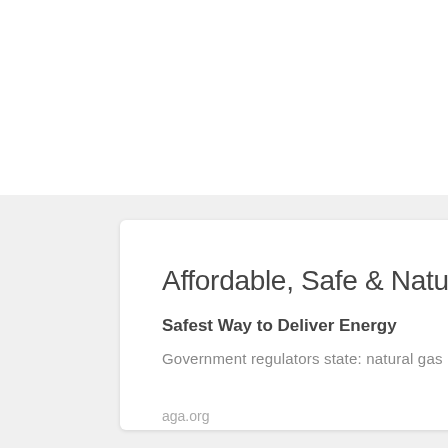Affordable, Safe & Natur
Safest Way to Deliver Energy
Government regulators state: natural gas
aga.org